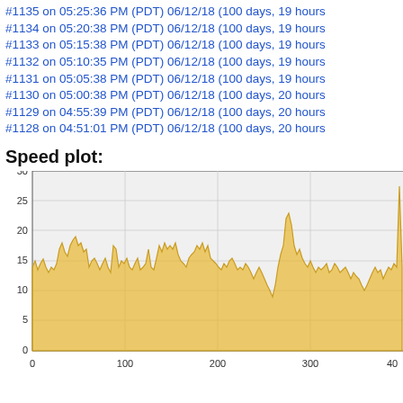#1135 on 05:25:36 PM (PDT) 06/12/18 (100 days, 19 hours
#1134 on 05:20:38 PM (PDT) 06/12/18 (100 days, 19 hours
#1133 on 05:15:38 PM (PDT) 06/12/18 (100 days, 19 hours
#1132 on 05:10:35 PM (PDT) 06/12/18 (100 days, 19 hours
#1131 on 05:05:38 PM (PDT) 06/12/18 (100 days, 19 hours
#1130 on 05:00:38 PM (PDT) 06/12/18 (100 days, 20 hours
#1129 on 04:55:39 PM (PDT) 06/12/18 (100 days, 20 hours
#1128 on 04:51:01 PM (PDT) 06/12/18 (100 days, 20 hours
Speed plot:
[Figure (continuous-plot): Speed plot area chart with golden/yellow fill showing speed values over time. X-axis ranges from 0 to approximately 400+, Y-axis ranges from 0 to 30. The line fluctuates between approximately 5 and 27, with peaks around x=80 (~20), x=210 (~22), x=310 (~25), and x=410 (~27).]